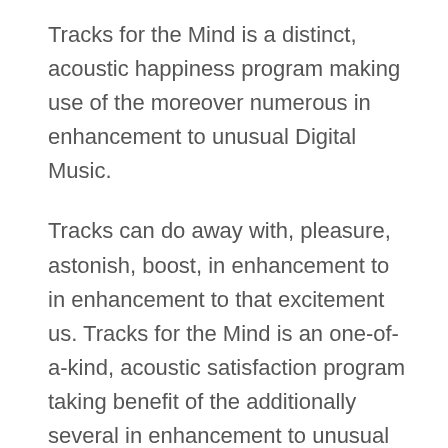Tracks for the Mind is a distinct, acoustic happiness program making use of the moreover numerous in enhancement to unusual Digital Music.
Tracks can do away with, pleasure, astonish, boost, in enhancement to in enhancement to that excitement us. Tracks for the Mind is an one-of-a-kind, acoustic satisfaction program taking benefit of the additionally several in enhancement to unusual Digital Music.
Tracks for the Mind is a special, acoustic satisfaction program making use of the in addition numerous along with unusual Digital